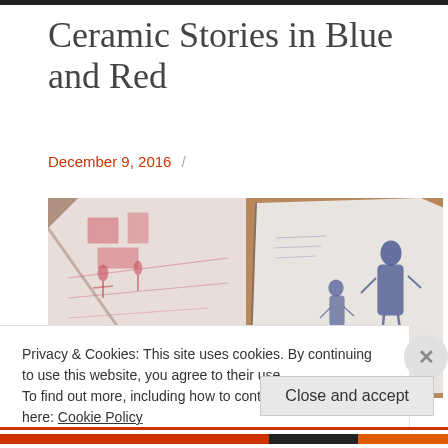Ceramic Stories in Blue and Red
December 9, 2016 /
[Figure (photo): Two ceramic shards photographed on a cork board background. Left shard shows red/pink transfer-ware style decoration with buildings and figures. Right shard shows blue and white transfer-ware with figures of people including a woman and children.]
Privacy & Cookies: This site uses cookies. By continuing to use this website, you agree to their use.
To find out more, including how to control cookies, see here: Cookie Policy
Close and accept